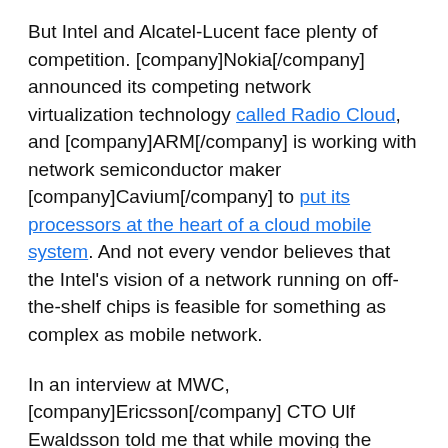But Intel and Alcatel-Lucent face plenty of competition. [company]Nokia[/company] announced its competing network virtualization technology called Radio Cloud, and [company]ARM[/company] is working with network semiconductor maker [company]Cavium[/company] to put its processors at the heart of a cloud mobile system. And not every vendor believes that the Intel's vision of a network running on off-the-shelf chips is feasible for something as complex as mobile network.
In an interview at MWC, [company]Ericsson[/company] CTO Ulf Ewaldsson told me that while moving the mobile network into a data center is most definitely possible, replacing its specialized digital signal processing workhorses with generic processors isn't. He likened the baseband to the graphics accelerator, which is still separate from the CPU of any computer or high-end